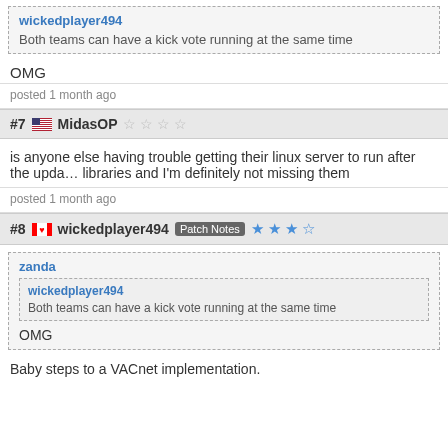wickedplayer494 — Both teams can have a kick vote running at the same time
OMG
posted 1 month ago
#7 MidasOP ☆☆☆☆
is anyone else having trouble getting their linux server to run after the update? it says its missing libraries and I'm definitely not missing them
posted 1 month ago
#8 wickedplayer494 Patch Notes ★★★☆
zanda — wickedplayer494: Both teams can have a kick vote running at the same time — OMG
Baby steps to a VACnet implementation.